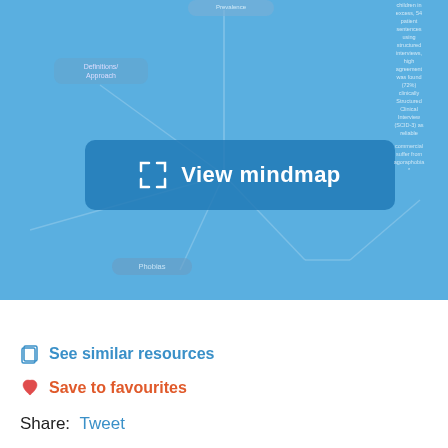[Figure (screenshot): Mind map interface screenshot showing a blue background with various connected nodes. A prominent 'View mindmap' button with expand icon is centered. Partially visible nodes include 'Definitions/Approach', 'Phobias', and other blurred text nodes on the right side showing clinical content. A red 'Feedback' tab is visible on the right edge.]
See similar resources
Save to favourites
Share:  Tweet